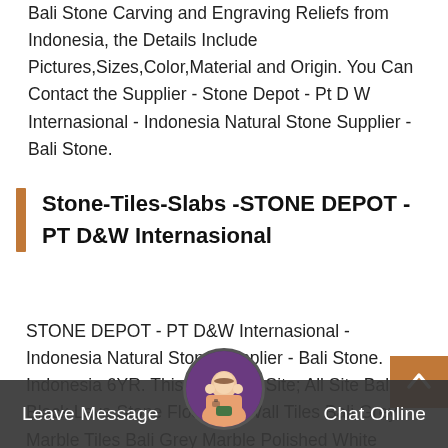Bali Stone Carving and Engraving Reliefs from Indonesia, the Details Include Pictures,Sizes,Color,Material and Origin. You Can Contact the Supplier - Stone Depot - Pt D W Internasional - Indonesia Natural Stone Supplier - Bali Stone.
Stone-Tiles-Slabs -STONE DEPOT - PT D&W Internasional
STONE DEPOT - PT D&W Internasional - Indonesia Natural Stone Supplier - Bali Stone. Indonesia 6YR. This Site. This Site; All Site Bali Black Lava Stone Floor and Wall Tiles Bali Grey Marble Tiles Bali Grey Marble Polished White Classic Limestone Tiles Bali White Limestone Kenoa Beach Spa & Resort ( Green Sub-bun Swimming Pool Tiles ) Indonesia Natural Stone Supplier